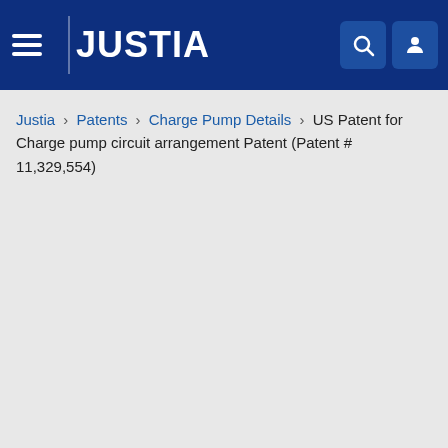JUSTIA
Justia › Patents › Charge Pump Details › US Patent for Charge pump circuit arrangement Patent (Patent # 11,329,554)